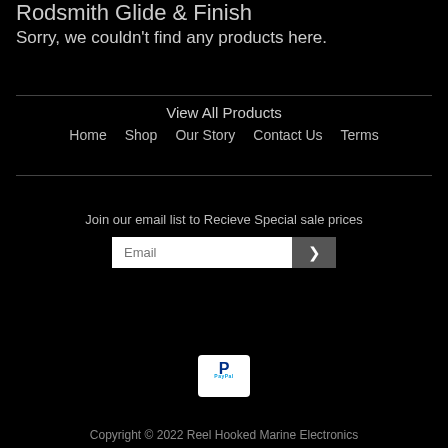Rodsmith Glide & Finish
Sorry, we couldn't find any products here.
View All Products
Home   Shop   Our Story   Contact Us   Terms
Join our email list to Recieve Special sale prices
[Figure (screenshot): Email input field with placeholder text 'Email' and a submit button with a right-arrow chevron]
[Figure (logo): PayPal logo on white background]
Copyright © 2022 Reel Hooked Marine Electronics